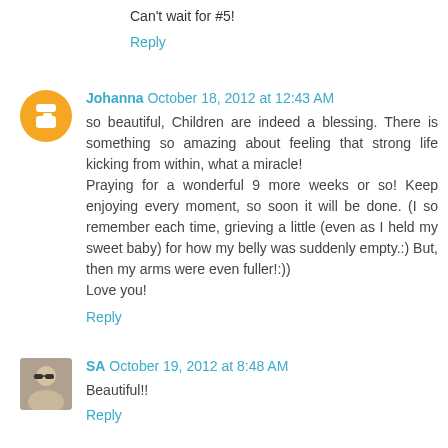Can't wait for #5!
Reply
Johanna  October 18, 2012 at 12:43 AM
so beautiful, Children are indeed a blessing. There is something so amazing about feeling that strong life kicking from within, what a miracle!
Praying for a wonderful 9 more weeks or so! Keep enjoying every moment, so soon it will be done. (I so remember each time, grieving a little (even as I held my sweet baby) for how my belly was suddenly empty.:) But, then my arms were even fuller!:))
Love you!
Reply
SA  October 19, 2012 at 8:48 AM
Beautiful!!
Reply